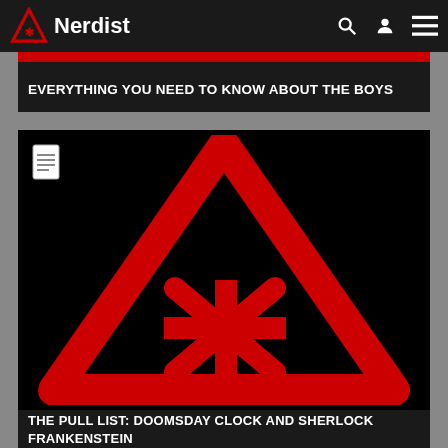Nerdist
EVERYTHING YOU NEED TO KNOW ABOUT THE BOYS
[Figure (logo): Nerdist logo — large red triangle with asterisk asterisk symbol on black background]
THE PULL LIST: DOOMSDAY CLOCK AND SHERLOCK FRANKENSTEIN